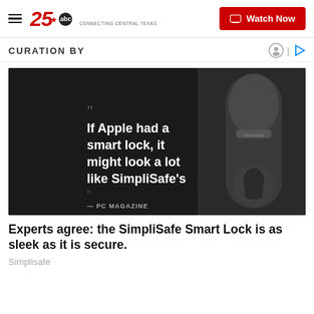25 abc - CONNECTING CENTRAL TEXAS | Watch Now
CURATION BY
[Figure (photo): Dark smart lock product photo with quote: 'If Apple had a smart lock, it might look a lot like SimpliSafe's' — PC MAGAZINE]
Experts agree: the SimpliSafe Smart Lock is as sleek as it is secure.
Simplisafe